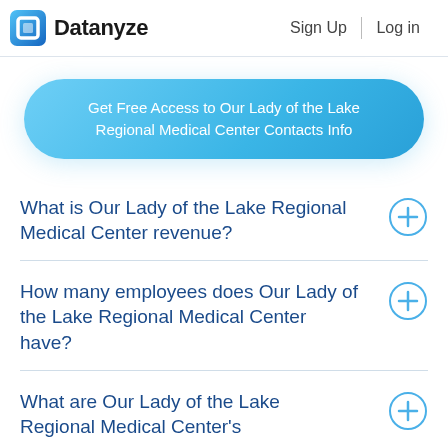Datanyze | Sign Up | Log in
Get Free Access to Our Lady of the Lake Regional Medical Center Contacts Info
What is Our Lady of the Lake Regional Medical Center revenue?
How many employees does Our Lady of the Lake Regional Medical Center have?
What are Our Lady of the Lake Regional Medical Center's